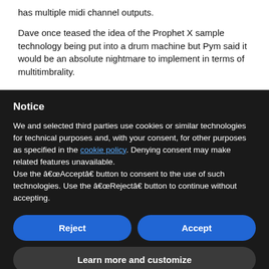has multiple midi channel outputs. Dave once teased the idea of the Prophet X sample technology being put into a drum machine but Pym said it would be an absolute nightmare to implement in terms of multitimbrality.
Notice
We and selected third parties use cookies or similar technologies for technical purposes and, with your consent, for other purposes as specified in the cookie policy. Denying consent may make related features unavailable.
Use the “Accept” button to consent to the use of such technologies. Use the “Reject” button to continue without accepting.
Reject
Accept
Learn more and customize